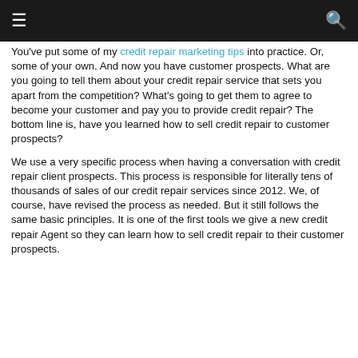≡  🔍
You've put some of my credit repair marketing tips into practice. Or, some of your own. And now you have customer prospects. What are you going to tell them about your credit repair service that sets you apart from the competition? What's going to get them to agree to become your customer and pay you to provide credit repair? The bottom line is, have you learned how to sell credit repair to customer prospects?
We use a very specific process when having a conversation with credit repair client prospects. This process is responsible for literally tens of thousands of sales of our credit repair services since 2012. We, of course, have revised the process as needed. But it still follows the same basic principles. It is one of the first tools we give a new credit repair Agent so they can learn how to sell credit repair to their customer prospects.